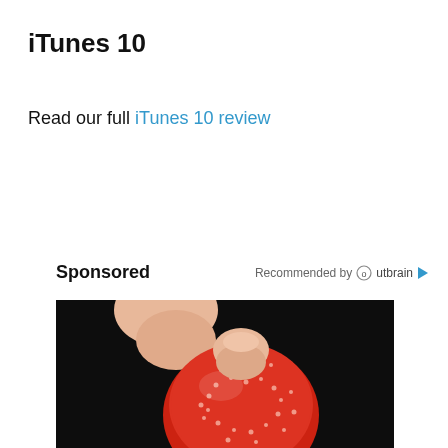iTunes 10
Read our full iTunes 10 review
Sponsored   Recommended by Outbrain
[Figure (photo): A close-up photo of a finger holding a red sugar-coated gummy candy against a dark background]